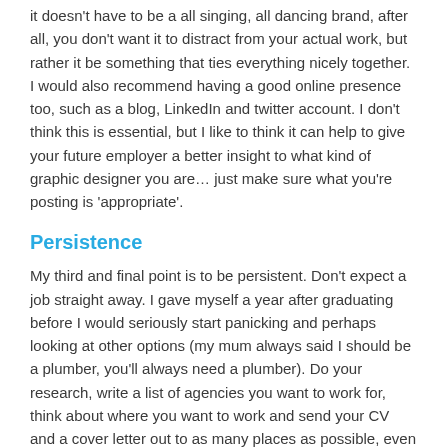it doesn't have to be a all singing, all dancing brand, after all, you don't want it to distract from your actual work, but rather it be something that ties everything nicely together. I would also recommend having a good online presence too, such as a blog, LinkedIn and twitter account. I don't think this is essential, but I like to think it can help to give your future employer a better insight to what kind of graphic designer you are… just make sure what you're posting is 'appropriate'.
Persistence
My third and final point is to be persistent. Don't expect a job straight away. I gave myself a year after graduating before I would seriously start panicking and perhaps looking at other options (my mum always said I should be a plumber, you'll always need a plumber). Do your research, write a list of agencies you want to work for, think about where you want to work and send your CV and a cover letter out to as many places as possible, even if there are no vacancies, it's always worth a try.
I was lucky, in a way, and got the job where I am